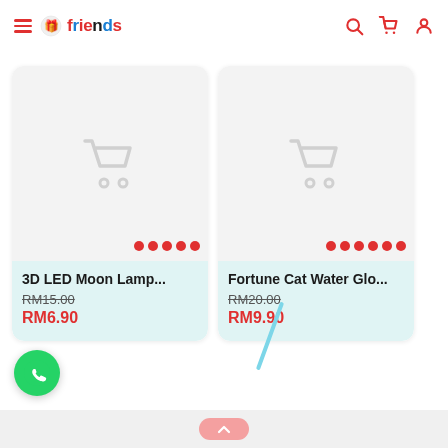allFriends - navigation header with hamburger menu, logo, search, cart, and user icons
[Figure (screenshot): Product card for 3D LED Moon Lamp with placeholder cart icon image, red dot pagination indicators, light teal info area showing original price RM15.00 crossed out and sale price RM6.90 in red]
[Figure (screenshot): Product card for Fortune Cat Water Glo... with placeholder cart icon image, red dot pagination indicators, light teal info area showing original price RM20.00 crossed out and sale price RM9.90 in red]
[Figure (illustration): WhatsApp floating action button (green circle with phone handset icon)]